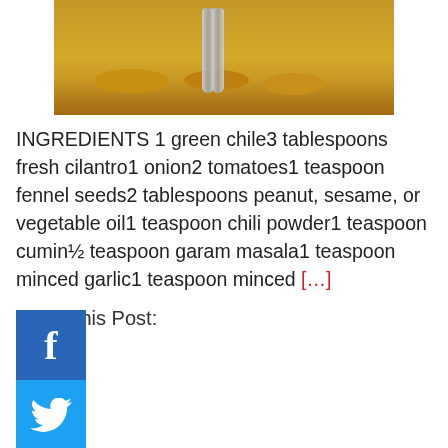[Figure (photo): Food photo showing caramelized banana slices with sauce on a white plate, with a fork visible]
INGREDIENTS 1 green chile3 tablespoons fresh cilantro1 onion2 tomatoes1 teaspoon fennel seeds2 tablespoons peanut, sesame, or vegetable oil1 teaspoon chili powder1 teaspoon cumin½ teaspoon garam masala1 teaspoon minced garlic1 teaspoon minced [...]
Share this Post:
[Figure (infographic): Social share buttons: Facebook (blue f), Twitter (blue bird), Tumblr (dark t), Pinterest (red p), LinkedIn (blue in with white box), Digg (black digg), plus button (blue +)]